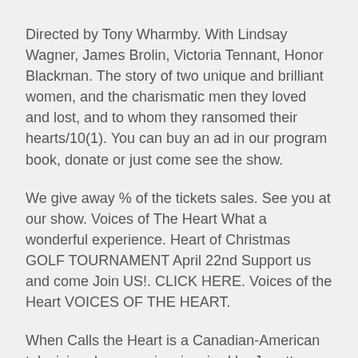Directed by Tony Wharmby. With Lindsay Wagner, James Brolin, Victoria Tennant, Honor Blackman. The story of two unique and brilliant women, and the charismatic men they loved and lost, and to whom they ransomed their hearts/10(1). You can buy an ad in our program book, donate or just come see the show.
We give away % of the tickets sales. See you at our show. Voices of The Heart What a wonderful experience. Heart of Christmas GOLF TOURNAMENT April 22nd Support us and come Join US!. CLICK HERE. Voices of the Heart VOICES OF THE HEART.
When Calls the Heart is a Canadian-American television drama series, inspired by Janette Oke's book of the same name from her Canadian West series, and developed by Michael Landon Jr.
The series began airing on the Hallmark Channel in the United States on January and on Super Channel in...